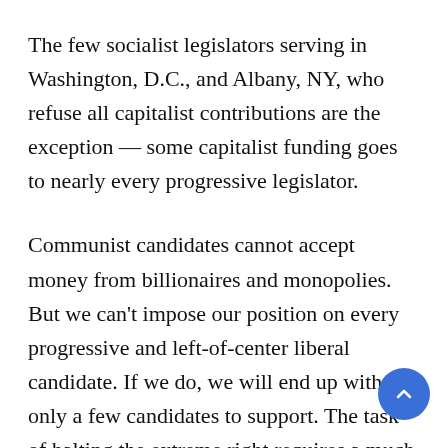The few socialist legislators serving in Washington, D.C., and Albany, NY, who refuse all capitalist contributions are the exception — some capitalist funding goes to nearly every progressive legislator.
Communist candidates cannot accept money from billionaires and monopolies. But we can't impose our position on every progressive and left-of-center liberal candidate. If we do, we will end up with only a few candidates to support. The task of halting the extreme right requires a much broader electoral front. How does our Party march side by side with anti-extreme-right elected officials from a